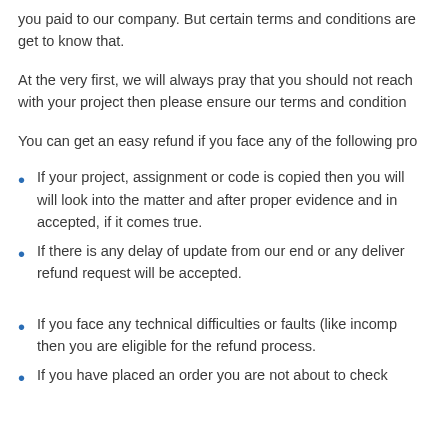you paid to our company. But certain terms and conditions are get to know that.
At the very first, we will always pray that you should not reach with your project then please ensure our terms and condition
You can get an easy refund if you face any of the following pro
If your project, assignment or code is copied then you will will look into the matter and after proper evidence and in accepted, if it comes true.
If there is any delay of update from our end or any deliver refund request will be accepted.
If you face any technical difficulties or faults (like incomp then you are eligible for the refund process.
If you have placed an order you are not about to check